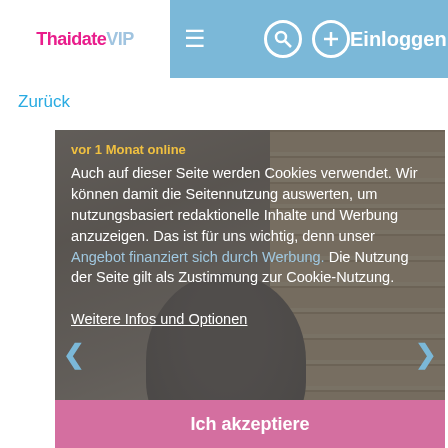ThaidateVIP  Einloggen
Zurück
[Figure (screenshot): Screenshot of a dating profile photo with a cookie consent overlay. The background shows a person with dark hair in front of wooden slats. A semi-transparent grey overlay displays a German cookie consent message. Online status tag reads 'vor 1 Monat online'.]
Auch auf dieser Seite werden Cookies verwendet. Wir können damit die Seitennutzung auswerten, um nutzungsbasiert redaktionelle Inhalte und Werbung anzuzeigen. Das ist für uns wichtig, denn unser Angebot finanziert sich durch Werbung. Die Nutzung der Seite gilt als Zustimmung zur Cookie-Nutzung. Weitere Infos und Optionen
Ich akzeptiere